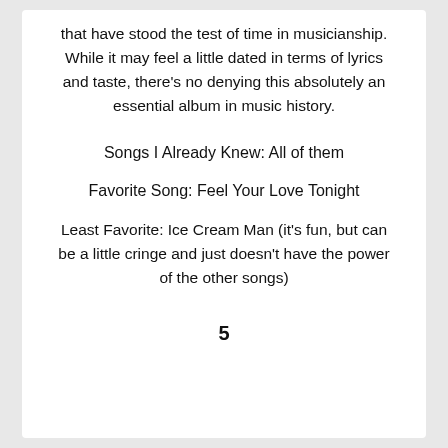that have stood the test of time in musicianship. While it may feel a little dated in terms of lyrics and taste, there's no denying this absolutely an essential album in music history.
Songs I Already Knew: All of them
Favorite Song: Feel Your Love Tonight
Least Favorite: Ice Cream Man (it's fun, but can be a little cringe and just doesn't have the power of the other songs)
5